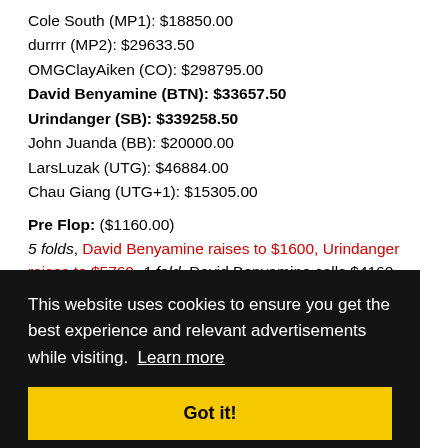Cole South (MP1): $18850.00
durrrr (MP2): $29633.50
OMGClayAiken (CO): $298795.00
David Benyamine (BTN): $33657.50
Urindanger (SB): $339258.50
John Juanda (BB): $20000.00
LarsLuzak (UTG): $46884.00
Chau Giang (UTG+1): $15305.00
Pre Flop: ($1160.00)
5 folds, David Benyamine raises to $1600, Urindanger raises to $5760, 1 fold, David Benyamine calls $4160
Flop: ($12480.00) 7♠ 9♦ 6♠ (2 players)
[cookie overlay content]
River: ($68135.00) 7♣ (all in)
Final Pot: $68135.00
David Benyamine shows K♠ A♠ 9♠ 6♣ (two pair, Nines and Sixes)